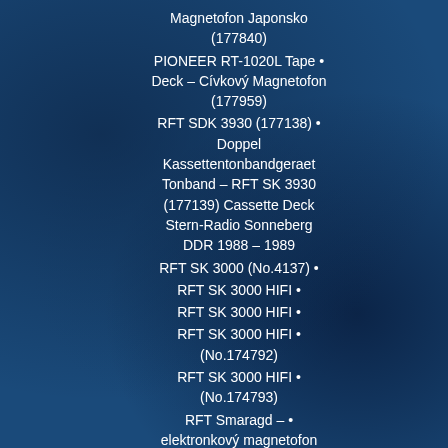Magnetofon Japonsko (177840)
PIONEER RT-1020L Tape • Deck – Cívkový Magnetofon (177959)
RFT SDK 3930 (177138) • Doppel Kassettentonbandgeraet Tonband – RFT SK 3930 (177139) Cassette Deck Stern-Radio Sonneberg DDR 1988 – 1989
RFT SK 3000 (No.4137) •
RFT SK 3000 HIFI •
RFT SK 3000 HIFI •
RFT SK 3000 HIFI • (No.174792)
RFT SK 3000 HIFI • (No.174793)
RFT Smaragd – • elektronkový magnetofon
RFT Smaragd BG 20-5 • lampový kotoučový magnetofon Německo 1960 (178489)